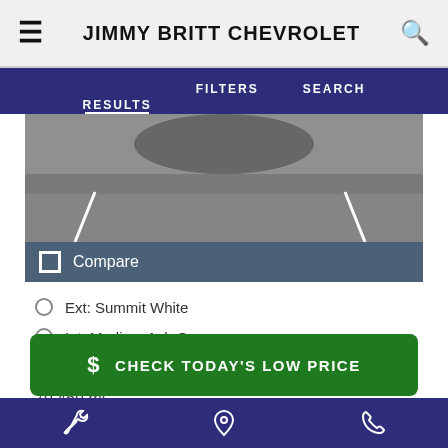JIMMY BRITT CHEVROLET
RESULTS   FILTERS   SEARCH
[Figure (photo): Partial view of a vehicle on asphalt parking lot with white lines visible]
Compare
Ext: Summit White
Int: Medium Ash Gray
Stock #: P0777
79,469 mi.
Price   $22,136
$ CHECK TODAY'S LOW PRICE